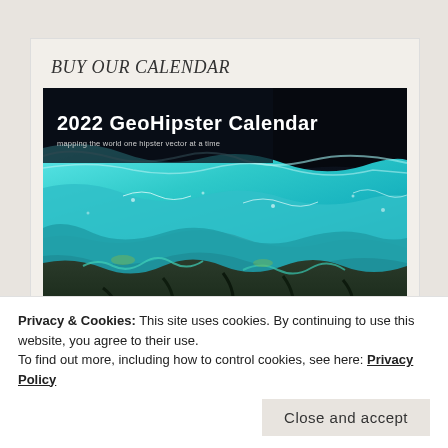BUY OUR CALENDAR
[Figure (photo): 2022 GeoHipster Calendar cover image showing an aerial/satellite view of a coastline with turquoise ocean water and dark land formations, with text '2022 GeoHipster Calendar' overlaid on the upper left.]
Privacy & Cookies: This site uses cookies. By continuing to use this website, you agree to their use.
To find out more, including how to control cookies, see here: Privacy Policy
Close and accept